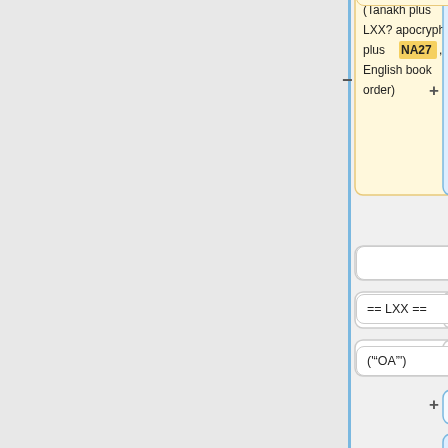[Figure (flowchart): Flowchart diagram showing two columns of connected boxes. Left column (yellow border): box with text '(Tanakh plus LXX? apocrypha plus NA27, English book order)' followed by empty box, '== LXX ==', "('OA')". Right column (blue border): box with text '(Tanakh plus LXX? apocrypha plus GNT, English book order)' followed by empty box, '== LXX ==', "('OA')", an additional empty box, and a blue note box saying 'Though this consists of OT+Apocrypha, we will ship it along with the GNT v11n NT.' Both columns end with empty box and '== Vulgate ==' boxes. Plus signs connect elements.]